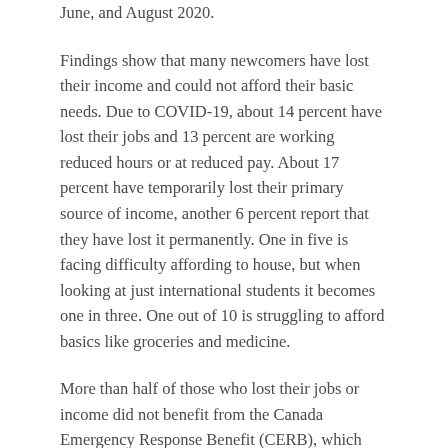June, and August 2020.
Findings show that many newcomers have lost their income and could not afford their basic needs. Due to COVID-19, about 14 percent have lost their jobs and 13 percent are working reduced hours or at reduced pay. About 17 percent have temporarily lost their primary source of income, another 6 percent report that they have lost it permanently. One in five is facing difficulty affording to house, but when looking at just international students it becomes one in three. One out of 10 is struggling to afford basics like groceries and medicine.
More than half of those who lost their jobs or income did not benefit from the Canada Emergency Response Benefit (CERB), which was created to meet and afford the urgent economic needs of people who were affected by the pandemic. About 48 percent received the CERB or Employment Insurance and the